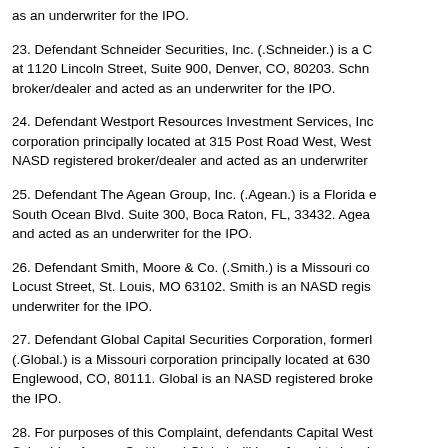as an underwriter for the IPO.
23. Defendant Schneider Securities, Inc. (.Schneider.) is a C at 1120 Lincoln Street, Suite 900, Denver, CO, 80203. Schn broker/dealer and acted as an underwriter for the IPO.
24. Defendant Westport Resources Investment Services, Inc corporation principally located at 315 Post Road West, West NASD registered broker/dealer and acted as an underwriter
25. Defendant The Agean Group, Inc. (.Agean.) is a Florida e South Ocean Blvd. Suite 300, Boca Raton, FL, 33432. Agea and acted as an underwriter for the IPO.
26. Defendant Smith, Moore & Co. (.Smith.) is a Missouri co Locust Street, St. Louis, MO 63102. Smith is an NASD regis underwriter for the IPO.
27. Defendant Global Capital Securities Corporation, formerl (.Global.) is a Missouri corporation principally located at 630 Englewood, CO, 80111. Global is an NASD registered broke the IPO.
28. For purposes of this Complaint, defendants Capital West Schneider, Agean, Smith and Global will be referred to herei